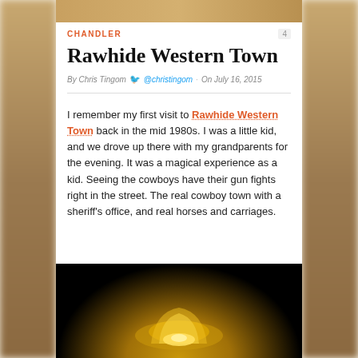CHANDLER
Rawhide Western Town
By Chris Tingom @christingom · On July 16, 2015
I remember my first visit to Rawhide Western Town back in the mid 1980s. I was a little kid, and we drove up there with my grandparents for the evening. It was a magical experience as a kid. Seeing the cowboys have their gun fights right in the street. The real cowboy town with a sheriff's office, and real horses and carriages.
[Figure (photo): Dark photo with golden/yellow glowing shapes at the bottom, appearing to show illuminated cowboy-themed objects against a black background]